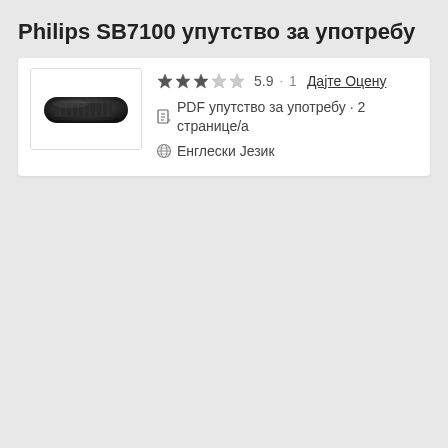Philips SB7100 упутство за употребу
[Figure (photo): Photo of Philips SB7100 speaker, black elongated device]
★★★☆☆ 5.9 · 1 Дајте Оцену
PDF упутство за употребу · 2 странице/а
Енглески Језик